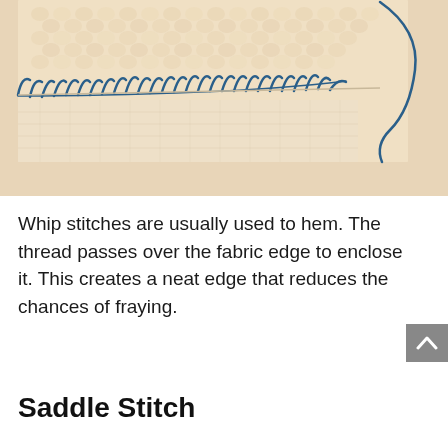[Figure (photo): Close-up photograph of fabric with whip stitches: cream/beige knitted fabric with blue thread passing diagonally over the edge in a whip stitch pattern. A loose blue thread loop is visible on the right side on a linen background.]
Whip stitches are usually used to hem. The thread passes over the fabric edge to enclose it. This creates a neat edge that reduces the chances of fraying.
Saddle Stitch